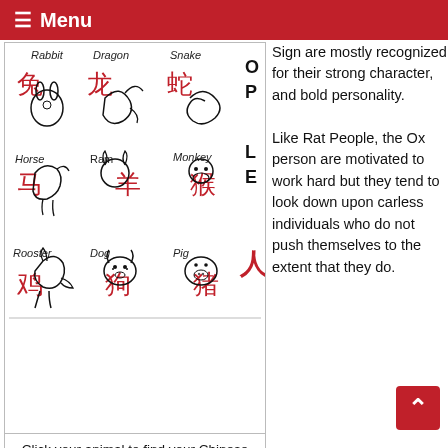≡ Menu
[Figure (illustration): Grid of Chinese zodiac animal illustrations including Rabbit, Dragon, Snake, Horse, Ram, Monkey, Rooster, Dog, Pig with Chinese characters and English labels. Vertical text reading PEOPLE on the right side.]
Click your animal to find your Chinese zodiac compatibility chart
Sign are mostly recognized for their strong character, and bold personality.
Like Rat People, the Ox person are motivated to work hard but they tend to look down upon carless individuals who do not push themselves to the extent that they do.
Oxen are also known for making friends that will last a lifetime and would never think twice about betraying one of their friends or family members.